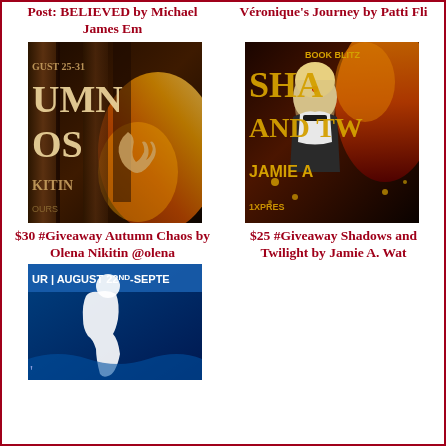Post: BELIEVED by Michael James Em
Véronique's Journey by Patti Fli
[Figure (photo): Book cover for Autumn Chaos by Olena Nikitin - dark fantasy cover showing text GUST 25-31, UMN, OS, KITIN, OURS with fire imagery]
[Figure (photo): Book Blitz cover for Shadows and Twilight by Jamie A. Wat - fantasy cover showing a woman warrior with fire, text BOOK BLITZ, SHA, AND TW, JAMIE A, 1XPRES]
$30 #Giveaway Autumn Chaos by Olena Nikitin @olena
$25 #Giveaway Shadows and Twilight by Jamie A. Wat
[Figure (photo): Book tour banner showing UR | AUGUST 22nd-SEPTE with blue background and silhouette figure]